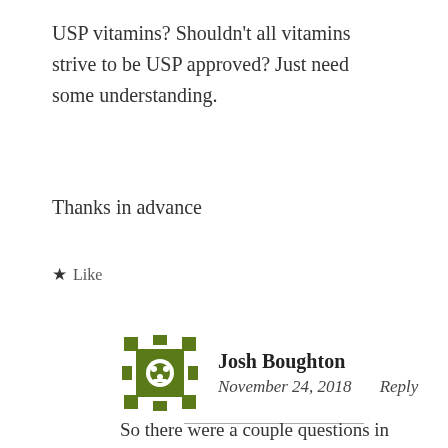USP vitamins? Shouldn't all vitamins strive to be USP approved? Just need some understanding.
Thanks in advance
★ Like
Josh Boughton
November 24, 2018    Reply
So there were a couple questions in your comment so I will take them one at a time. 1. USP simply is the United States